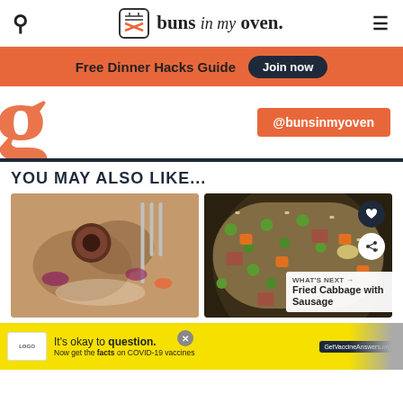buns in my oven
Free Dinner Hacks Guide  Join now
@bunsinmyoven
YOU MAY ALSO LIKE...
[Figure (photo): Close-up of sausage and potato casserole dish with fork]
[Figure (photo): Overhead view of fried rice with ham, peas and carrots in a skillet]
WHAT'S NEXT → Fried Cabbage with Sausage
It's okay to question. Now get the facts on COVID-19 vaccines  GetVaccineAnswers.org